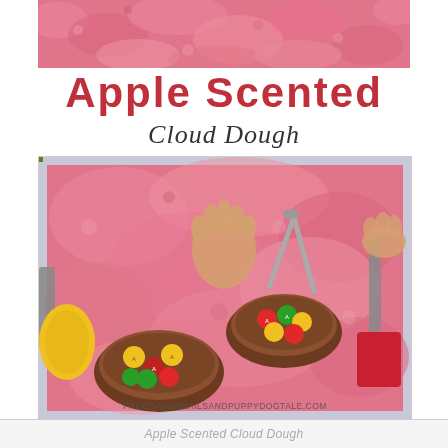[Figure (photo): Close-up top view of pink cloud dough / kinetic sand texture]
Apple Scented
Cloud Dough
[Figure (photo): Bird's eye view of a child's hands playing in pink apple-scented cloud dough in a bin, with wooden bowls, toy apples, and tongs/scoops. Watermark: FROGSANDSNAILSANDPUPPYDOGTALE.COM]
Apple Scented Cloud Dough